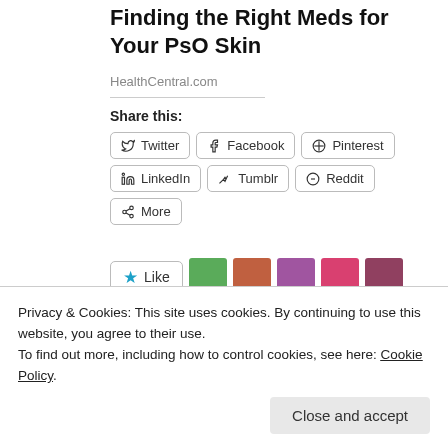Finding the Right Meds for Your PsO Skin
HealthCentral.com
Share this:
Twitter Facebook Pinterest LinkedIn Tumblr Reddit More
[Figure (other): Like button with star icon and blogger avatar thumbnails]
12 bloggers like this.
Related
Privacy & Cookies: This site uses cookies. By continuing to use this website, you agree to their use.
To find out more, including how to control cookies, see here: Cookie Policy
Close and accept
July 7, 2013